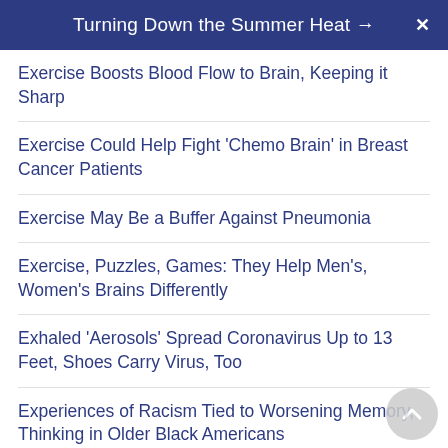Turning Down the Summer Heat →
Exercise Boosts Blood Flow to Brain, Keeping it Sharp
Exercise Could Help Fight 'Chemo Brain' in Breast Cancer Patients
Exercise May Be a Buffer Against Pneumonia
Exercise, Puzzles, Games: They Help Men's, Women's Brains Differently
Exhaled 'Aerosols' Spread Coronavirus Up to 13 Feet, Shoes Carry Virus, Too
Experiences of Racism Tied to Worsening Memory, Thinking in Older Black Americans
Expert Tips to Help You Beat the Heat
Exposing Kids to Safe Levels of Peanut When Young Might Prevent Allergy
Face Masks Can Help Prevent Viral Spread, but They Aren't Perfect: Study